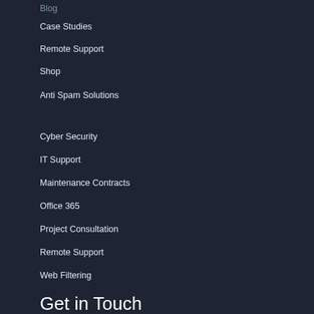Blog
Case Studies
Remote Support
Shop
Anti Spam Solutions
Cyber Security
IT Support
Maintenance Contracts
Office 365
Project Consultation
Remote Support
Web Filtering
Get in Touch
Longman Court, Sketty Close, Brackmills,